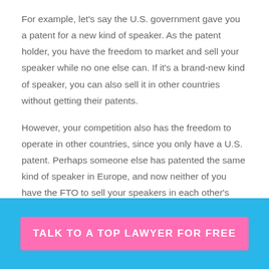For example, let's say the U.S. government gave you a patent for a new kind of speaker. As the patent holder, you have the freedom to market and sell your speaker while no one else can. If it's a brand-new kind of speaker, you can also sell it in other countries without getting their patents.
However, your competition also has the freedom to operate in other countries, since you only have a U.S. patent. Perhaps someone else has patented the same kind of speaker in Europe, and now neither of you have the FTO to sell your speakers in each other's markets.
Another example is car names. Some cars have different names in different markets because another company
TALK TO A TOP LAWYER FOR FREE